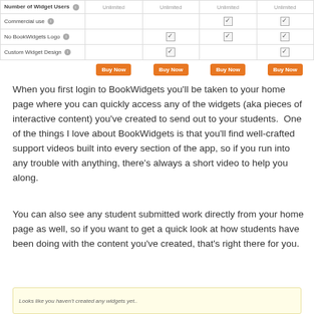| Feature | Plan 1 | Plan 2 | Plan 3 | Plan 4 |
| --- | --- | --- | --- | --- |
| Number of Widget Users ℹ | Unlimited | Unlimited | Unlimited | Unlimited |
| Commercial use ℹ |  |  | ✓ | ✓ |
| No BookWidgets Logo ℹ |  | ✓ | ✓ | ✓ |
| Custom Widget Design ℹ |  | ✓ |  | ✓ |
|  | Buy Now | Buy Now | Buy Now | Buy Now |
When you first login to BookWidgets you'll be taken to your home page where you can quickly access any of the widgets (aka pieces of interactive content) you've created to send out to your students.  One of the things I love about BookWidgets is that you'll find well-crafted support videos built into every section of the app, so if you run into any trouble with anything, there's always a short video to help you along.
You can also see any student submitted work directly from your home page as well, so if you want to get a quick look at how students have been doing with the content you've created, that's right there for you.
[Figure (screenshot): Screenshot showing a yellow/cream message box with text: Looks like you haven't created any widgets yet..]